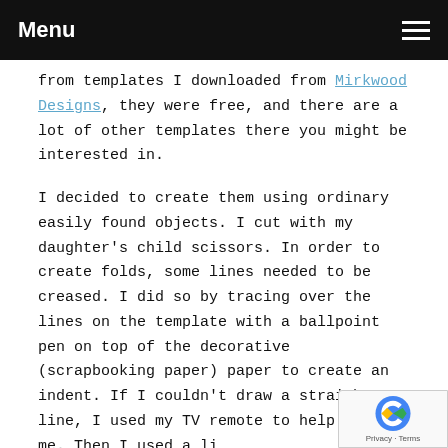Menu
from templates I downloaded from Mirkwood Designs, they were free, and there are a lot of other templates there you might be interested in.
I decided to create them using ordinary easily found objects. I cut with my daughter’s child scissors. In order to create folds, some lines needed to be creased. I did so by tracing over the lines on the template with a ballpoint pen on top of the decorative (scrapbooking paper) paper to create an indent. If I couldn’t draw a straight line, I used my TV remote to help guide me. Then I used a li… glue stick as needed to seal the flaps. Oh, an…